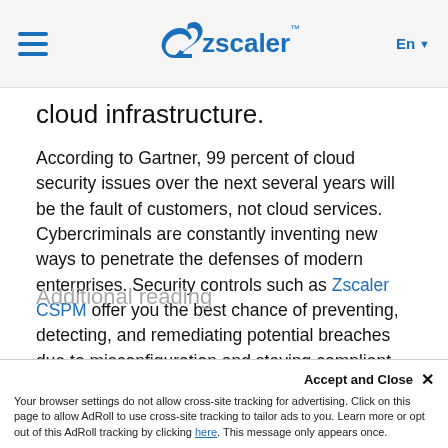Zscaler navigation bar with hamburger menu, Zscaler logo, and language selector (En)
cloud infrastructure.
According to Gartner, 99 percent of cloud security issues over the next several years will be the fault of customers, not cloud services. Cybercriminals are constantly inventing new ways to penetrate the defenses of modern enterprises. Security controls such as Zscaler CSPM offer you the best chance of preventing, detecting, and remediating potential breaches due to misconfiguration and staying compliant.
Want to hear more about Zscaler Cloud Security Posture Management? Get in touch with us today.
Additional reading
Accept and Close ×
Your browser settings do not allow cross-site tracking for advertising. Click on this page to allow AdRoll to use cross-site tracking to tailor ads to you. Learn more or opt out of this AdRoll tracking by clicking here. This message only appears once.